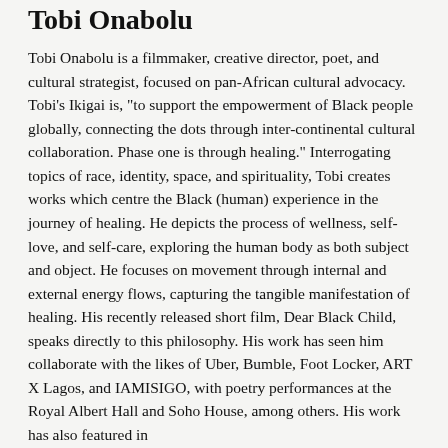Tobi Onabolu
Tobi Onabolu is a filmmaker, creative director, poet, and cultural strategist, focused on pan-African cultural advocacy. Tobi's Ikigai is, "to support the empowerment of Black people globally, connecting the dots through inter-continental cultural collaboration. Phase one is through healing." Interrogating topics of race, identity, space, and spirituality, Tobi creates works which centre the Black (human) experience in the journey of healing. He depicts the process of wellness, self-love, and self-care, exploring the human body as both subject and object. He focuses on movement through internal and external energy flows, capturing the tangible manifestation of healing. His recently released short film, Dear Black Child, speaks directly to this philosophy. His work has seen him collaborate with the likes of Uber, Bumble, Foot Locker, ART X Lagos, and IAMISIGO, with poetry performances at the Royal Albert Hall and Soho House, among others. His work has also featured in...